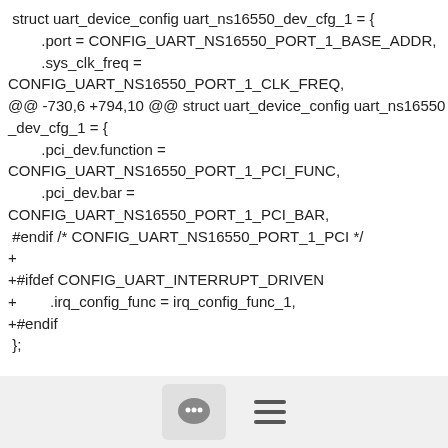struct uart_device_config uart_ns16550_dev_cfg_1 = {
        .port = CONFIG_UART_NS16550_PORT_1_BASE_ADDR,
        .sys_clk_freq =
CONFIG_UART_NS16550_PORT_1_CLK_FREQ,
@@ -730,6 +794,10 @@ struct uart_device_config uart_ns16550_dev_cfg_1 = {
        .pci_dev.function =
CONFIG_UART_NS16550_PORT_1_PCI_FUNC,
        .pci_dev.bar =
CONFIG_UART_NS16550_PORT_1_PCI_BAR,
 #endif /* CONFIG_UART_NS16550_PORT_1_PCI */
+
+#ifdef CONFIG_UART_INTERRUPT_DRIVEN
+        .irq_config_func = irq_config_func_1,
+#endif
 };

 static struct uart_ns16550_dev_data_t
uart_ns16550_dev_data_1 = {
[Figure (other): Footer bar with chat bubble icon button and hamburger menu icon]